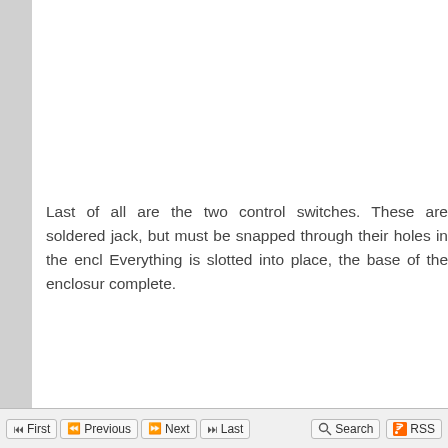Last of all are the two control switches. These are soldered jack, but must be snapped through their holes in the encl Everything is slotted into place, the base of the enclosur complete.
First  Previous  Next  Last  Search  RSS